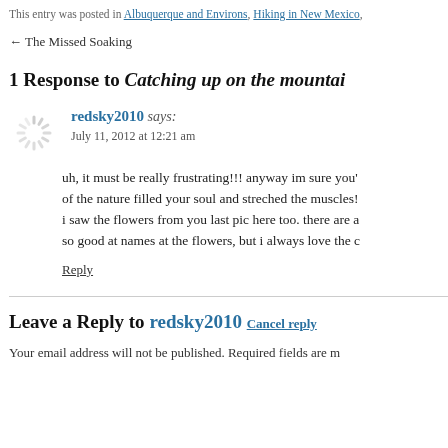This entry was posted in Albuquerque and Environs, Hiking in New Mexico,
← The Missed Soaking
1 Response to Catching up on the mountai…
redsky2010 says:
July 11, 2012 at 12:21 am
uh, it must be really frustrating!!! anyway im sure you' of the nature filled your soul and streched the muscles! i saw the flowers from you last pic here too. there are a so good at names at the flowers, but i always love the c
Reply
Leave a Reply to redsky2010 Cancel reply
Your email address will not be published. Required fields are m